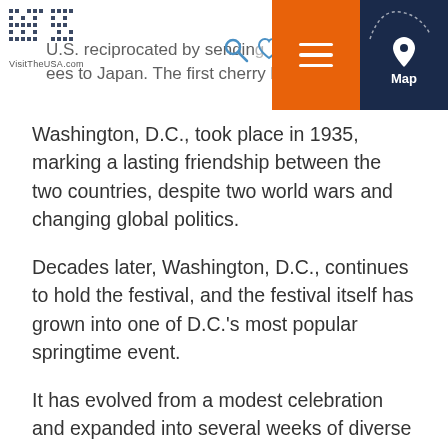VisitTheUSA.com — navigation header with logo, search, heart, hamburger menu, and map button
Washington, D.C., took place in 1935, marking a lasting friendship between the two countries, despite two world wars and changing global politics.
Decades later, Washington, D.C., continues to hold the festival, and the festival itself has grown into one of D.C.'s most popular springtime event.
It has evolved from a modest celebration and expanded into several weeks of diverse events that feature not only the cherry blossoms, but also Japanese culture and the strong alliance of friendship between the U.S. and Japan.
The entire city has grown to get involved in the festival as well. Many hotels offer special themed packages, of which some include cherry blossom-inspired cocktails, meals, and more. Many restaurants also get in the spirit to offer cherry blossom- and spring-themed meals and beverages. This festival is perfect for anyone and everyone, from families with small kids to couples and tourists.